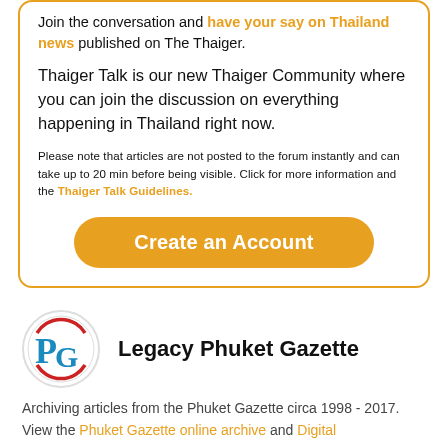Join the conversation and have your say on Thailand news published on The Thaiger.
Thaiger Talk is our new Thaiger Community where you can join the discussion on everything happening in Thailand right now.
Please note that articles are not posted to the forum instantly and can take up to 20 min before being visible. Click for more information and the Thaiger Talk Guidelines.
Create an Account
Legacy Phuket Gazette
Archiving articles from the Phuket Gazette circa 1998 - 2017. View the Phuket Gazette online archive and Digital